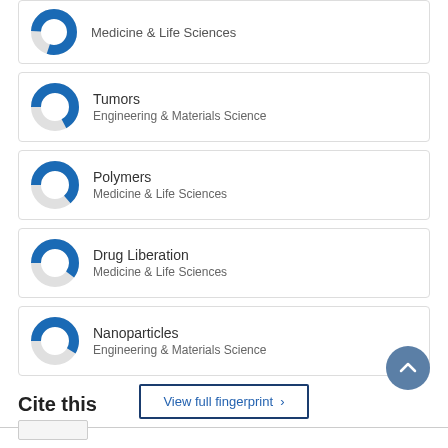[Figure (donut-chart): Partially filled donut chart for Medicine & Life Sciences (top, cropped)]
Medicine & Life Sciences
[Figure (donut-chart): Partially filled donut chart for Tumors - Engineering & Materials Science]
Tumors
Engineering & Materials Science
[Figure (donut-chart): Partially filled donut chart for Polymers - Medicine & Life Sciences]
Polymers
Medicine & Life Sciences
[Figure (donut-chart): Partially filled donut chart for Drug Liberation - Medicine & Life Sciences]
Drug Liberation
Medicine & Life Sciences
[Figure (donut-chart): Partially filled donut chart for Nanoparticles - Engineering & Materials Science]
Nanoparticles
Engineering & Materials Science
View full fingerprint >
Cite this